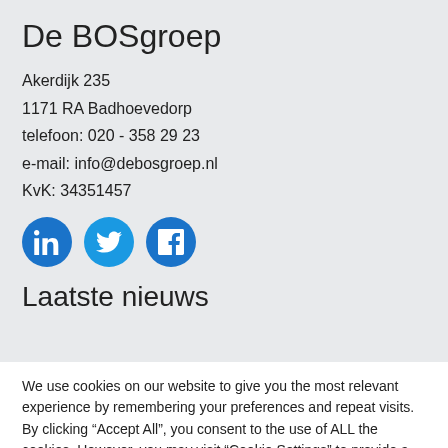De BOSgroep
Akerdijk 235
1171 RA Badhoevedorp
telefoon: 020 - 358 29 23
e-mail: info@debosgroep.nl
KvK: 34351457
[Figure (illustration): Three circular blue social media icons: LinkedIn, Twitter, Facebook]
Laatste nieuws
We use cookies on our website to give you the most relevant experience by remembering your preferences and repeat visits. By clicking “Accept All”, you consent to the use of ALL the cookies. However, you may visit "Cookie Settings" to provide a controlled consent.